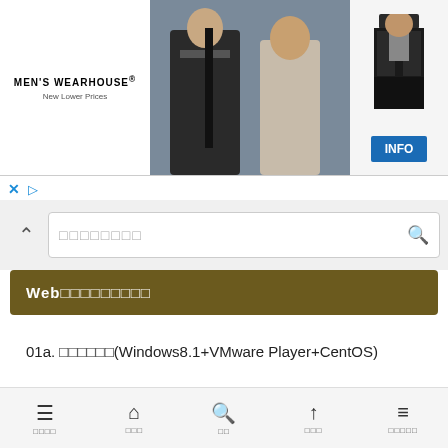[Figure (screenshot): Men's Wearhouse advertisement banner showing a couple in formal wear and a man in a suit, with INFO button]
[Figure (screenshot): Search bar UI with chevron-up icon and search placeholder text with search icon]
Web□□□□□□□□□
01a. □□□□□□(Windows8.1+VMware Player+CentOS)
01b. □□□□□□(Windows 10+Ubuntu)
□□□□  □□□  □□  □□□  □□□□□